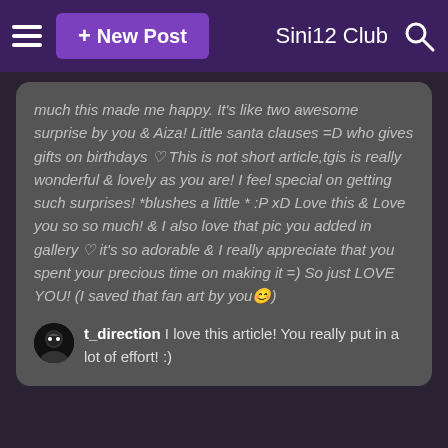≡  + New Post   Sini12 Club 🔍
much this made me happy. It's like two awesome surprise by you & Aiza! Little santa clauses =D who gives gifts on birthdays ♡ This is not short article,tgis is really wonderful & lovely as you are! I feel special on getting such surprises! *blushes a little * :P xD Love this & Love you so so much! & I also love that pic you added in gallery ♡ it's so adorable & I really appreciate that you spent your precious time on making it =) So just LOVE YOU! (I saved that fan art by you😊)
t_direction I love this article! You really put in a lot of effort! :)